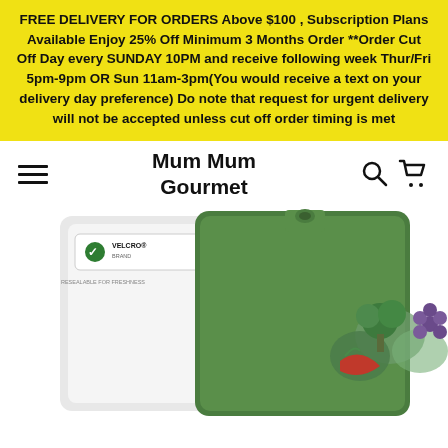FREE DELIVERY FOR ORDERS Above $100 , Subscription Plans Available Enjoy 25% Off Minimum 3 Months Order **Order Cut Off Day every SUNDAY 10PM and receive following week Thur/Fri 5pm-9pm OR Sun 11am-3pm(You would receive a text on your delivery day preference) Do note that request for urgent delivery will not be accepted unless cut off order timing is met
Mum Mum Gourmet
[Figure (photo): Product photo of a green resealable pouch with VELCRO brand closure, labeled FROM HOLLAND / HOLLANDE, featuring vegetarian and gluten free claims, with images of vegetables including broccoli, mushrooms and other produce.]